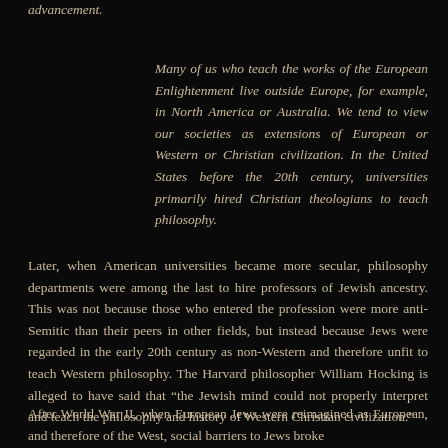advancement.
Many of us who teach the works of the European Enlightenment live outside Europe, for example, in North America or Australia. We tend to view our societies as extensions of European or Western or Christian civilization. In the United States before the 20th century, universities primarily hired Christian theologians to teach philosophy.
Later, when American universities became more secular, philosophy departments were among the last to hire professors of Jewish ancestry. This was not because those who entered the profession were more anti-Semitic than their peers in other fields, but instead because Jews were regarded in the early 20th century as non-Western and therefore unfit to teach Western philosophy. The Harvard philosopher William Hocking is alleged to have said that “the Jewish mind could not properly interpret and teach the philosophy and history of Western Christian civilization.”
After World War II, when European Jews were reimagined as European, and therefore of the West, social barriers to Jews broke